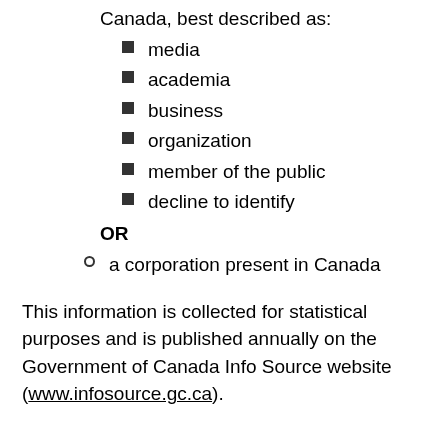Canada, best described as:
media
academia
business
organization
member of the public
decline to identify
OR
a corporation present in Canada
This information is collected for statistical purposes and is published annually on the Government of Canada Info Source website (www.infosource.gc.ca).